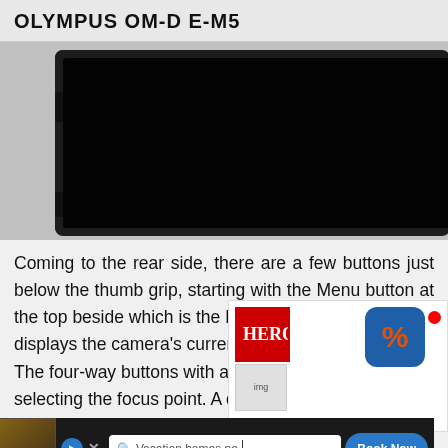OLYMPUS OM-D E-M5
[Figure (photo): Rear view of Olympus OM-D E-M5 camera showing the large black LCD screen on the left and camera controls on the right including MENU button, INFO button, four-way directional pad with central OK button, ON/OFF switch, and other controls. Camera body is black.]
Coming to the rear side, there are a few buttons just below the thumb grip, starting with the Menu button at the top beside which is the Info button that displays the camera's current settings. The four-way buttons with a central OK button are for selecting the focus point. A delete button is placed below, on the right side of which is the switch. The fe d, but